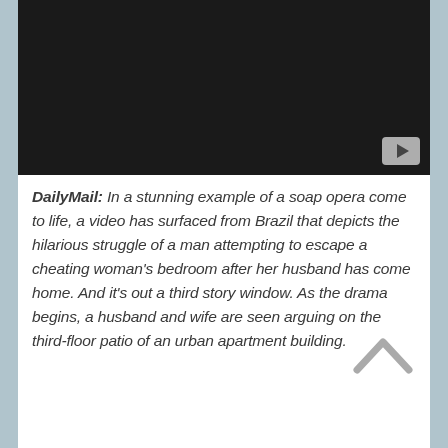[Figure (screenshot): Black video player thumbnail with a play button in the bottom right corner]
DailyMail: In a stunning example of a soap opera come to life, a video has surfaced from Brazil that depicts the hilarious struggle of a man attempting to escape a cheating woman's bedroom after her husband has come home. And it's out a third story window. As the drama begins, a husband and wife are seen arguing on the third-floor patio of an urban apartment building.